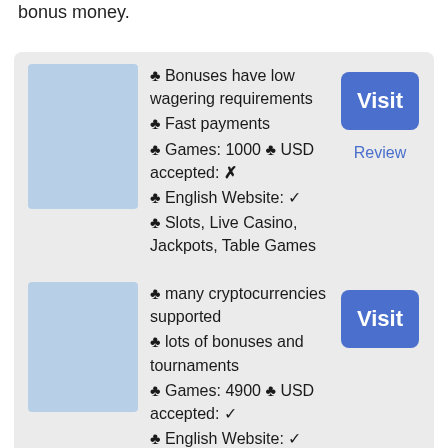bonus money.
♣ Bonuses have low wagering requirements
♣ Fast payments
♣ Games: 1000 ♣ USD accepted: ✗
♣ English Website: ✓
♣ Slots, Live Casino, Jackpots, Table Games
20 No Deposit Free Spins After Registration, 1st Deposit: 100% up to €300 + 100 Free Spins
♣ many cryptocurrencies supported
♣ lots of bonuses and tournaments
♣ Games: 4900 ♣ USD accepted: ✓
♣ English Website: ✓